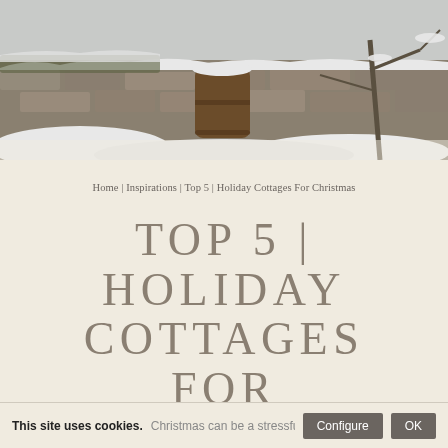[Figure (photo): Winter scene with snow-covered stone wall, a wooden barrel, and bare snowy branches against a grey sky]
Home | Inspirations | Top 5 | Holiday Cottages For Christmas
TOP 5 | HOLIDAY COTTAGES FOR CHRISTMAS
Published on 2 Nov 2016 by Gwion Llwyd
This site uses cookies.
Christmas can be a stressful at the b...